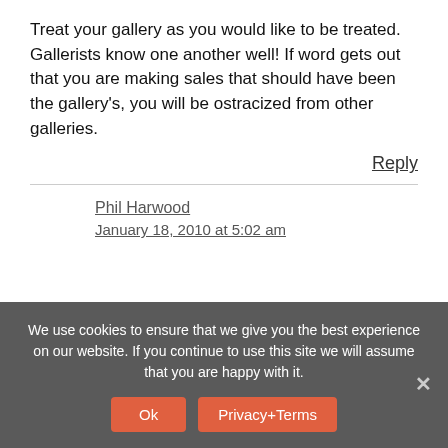Treat your gallery as you would like to be treated. Gallerists know one another well! If word gets out that you are making sales that should have been the gallery's, you will be ostracized from other galleries.
Reply
Phil Harwood
January 18, 2010 at 5:02 am
We use cookies to ensure that we give you the best experience on our website. If you continue to use this site we will assume that you are happy with it.